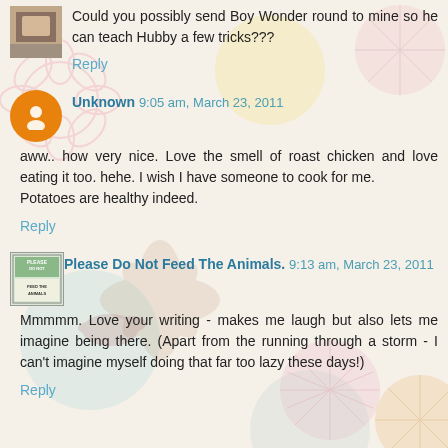[Figure (illustration): Small avatar image of a person or object at top left]
Could you possibly send Boy Wonder round to mine so he can teach Hubby a few tricks???
Reply
[Figure (illustration): Orange circle Blogger avatar icon for Unknown commenter]
Unknown 9:05 am, March 23, 2011
aww.. how very nice. Love the smell of roast chicken and love eating it too. hehe. I wish I have someone to cook for me.
Potatoes are healthy indeed.
Reply
[Figure (illustration): Please Do Not Feed The Animals avatar image]
Please Do Not Feed The Animals. 9:13 am, March 23, 2011
Mmmmm. Love your writing - makes me laugh but also lets me imagine being there. (Apart from the running through a storm - I can't imagine myself doing that far too lazy these days!)
Reply